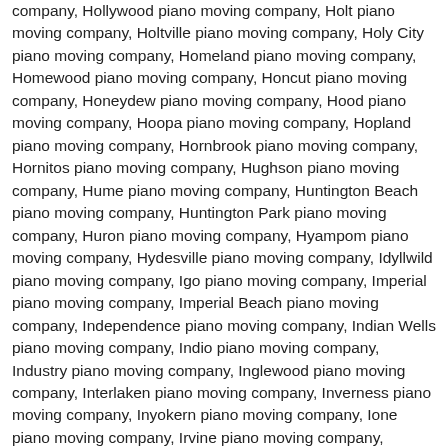company, Hollywood piano moving company, Holt piano moving company, Holtville piano moving company, Holy City piano moving company, Homeland piano moving company, Homewood piano moving company, Honcut piano moving company, Honeydew piano moving company, Hood piano moving company, Hoopa piano moving company, Hopland piano moving company, Hornbrook piano moving company, Hornitos piano moving company, Hughson piano moving company, Hume piano moving company, Huntington Beach piano moving company, Huntington Park piano moving company, Huron piano moving company, Hyampom piano moving company, Hydesville piano moving company, Idyllwild piano moving company, Igo piano moving company, Imperial piano moving company, Imperial Beach piano moving company, Independence piano moving company, Indian Wells piano moving company, Indio piano moving company, Industry piano moving company, Inglewood piano moving company, Interlaken piano moving company, Inverness piano moving company, Inyokern piano moving company, Ione piano moving company, Irvine piano moving company, Irwindale piano moving company, Isla Vista piano moving company, Isleton piano moving company, Ivanhoe piano moving company, Jackson piano moving company, Jacumba piano moving company, Jamestown piano moving company, Jamul piano moving company, Janesville piano moving company, Jenner piano moving company, Johannesburg piano moving company, Jolon piano moving company, Joshua Tree piano moving company, Julian piano moving company, Junction City piano moving company, June Lake piano moving company, Kaweah piano moving company, Keeler piano moving company, Keene piano moving company, Kelseyville piano moving company, Kensington piano moving company, Kentfield piano moving company, Kenwood piano moving company, Kerman piano moving company, Kernville piano moving company, Kettleman City piano moving company, Keyes piano moving company, King City piano moving company, Kings Beach piano moving company, Kingsburg piano moving company, Kirkwood piano moving company